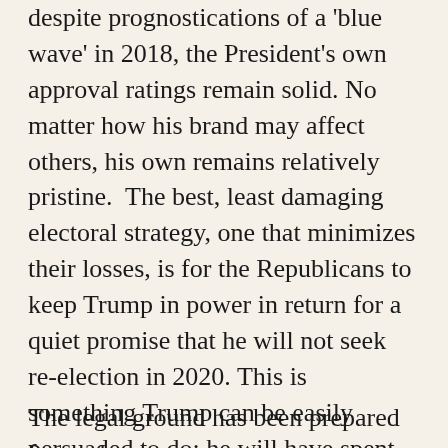despite prognostications of a 'blue wave' in 2018, the President's own approval ratings remain solid. No matter how his brand may affect others, his own remains relatively pristine.  The best, least damaging electoral strategy, one that minimizes their losses, is for the Republicans to keep Trump in power in return for a quiet promise that he will not seek re-election in 2020. This is something Trump can be easily persuaded to do; he will have spent enough time in the limelight to ensure himself a quiet retirement, and ensured enough money to secure his children's future. He will also have realized that the presidency can be an unpleasant business.
The legal ground has been prepared for such a